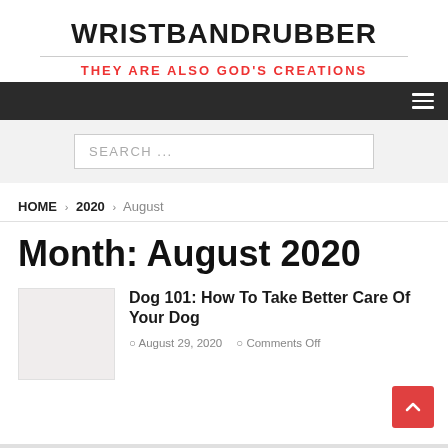WRISTBANDRUBBER
THEY ARE ALSO GOD'S CREATIONS
Navigation bar with hamburger menu
SEARCH ...
HOME › 2020 › August
Month: August 2020
Dog 101: How To Take Better Care Of Your Dog
August 29, 2020   Comments Off